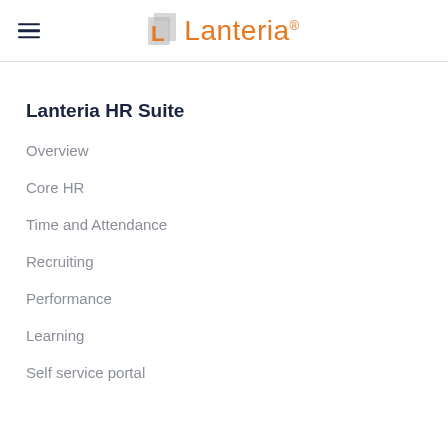Lanteria®
Lanteria HR Suite
Overview
Core HR
Time and Attendance
Recruiting
Performance
Learning
Self service portal